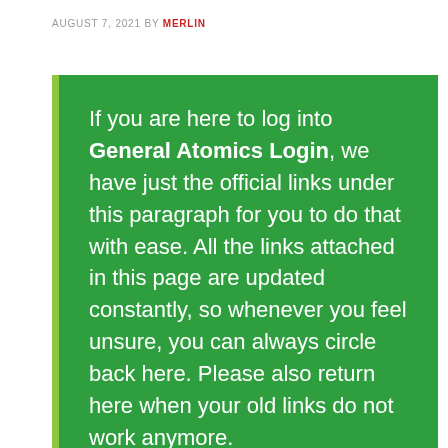AUGUST 7, 2021 BY MERLIN
If you are here to log into General Atomics Login, we have just the official links under this paragraph for you to do that with ease. All the links attached in this page are updated constantly, so whenever you feel unsure, you can always circle back here. Please also return here when your old links do not work anymore.